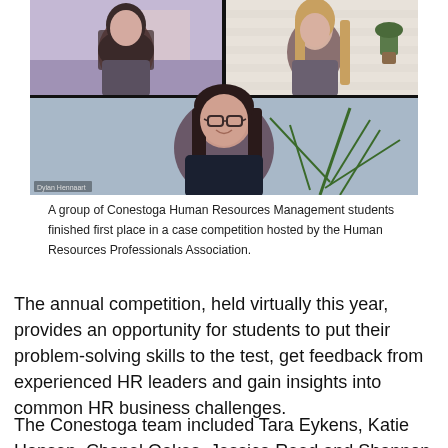[Figure (photo): A virtual meeting screenshot showing three Conestoga Human Resources Management students on a video call. Top row shows two women in separate video tiles; bottom row shows a third woman wearing glasses with a plant visible in her background.]
A group of Conestoga Human Resources Management students finished first place in a case competition hosted by the Human Resources Professionals Association.
The annual competition, held virtually this year, provides an opportunity for students to put their problem-solving skills to the test, get feedback from experienced HR leaders and gain insights into common HR business challenges.
The Conestoga team included Tara Eykens, Katie Hansen, Chanel Oakes, Jessica Reed and Shannon